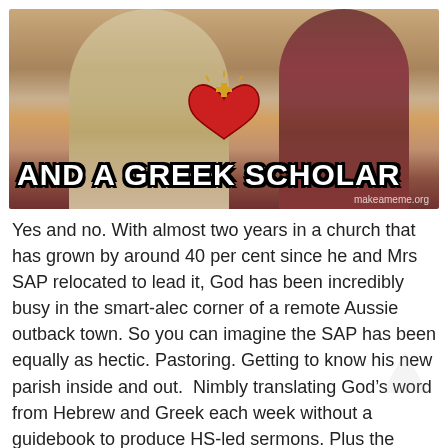[Figure (photo): A meme image showing a religious statue or figure in robes with a sacred heart iconography, overlaid with bold white Impact-font text reading 'AND A GREEK SCHOLAR' and watermark 'makeameme.org' in bottom right corner]
Yes and no. With almost two years in a church that has grown by around 40 per cent since he and Mrs SAP relocated to lead it, God has been incredibly busy in the smart-alec corner of a remote Aussie outback town. So you can imagine the SAP has been equally as hectic. Pastoring. Getting to know his new parish inside and out.  Nimbly translating God’s word from Hebrew and Greek each week without a guidebook to produce HS-led sermons. Plus the usual hatch, match and dispatching.